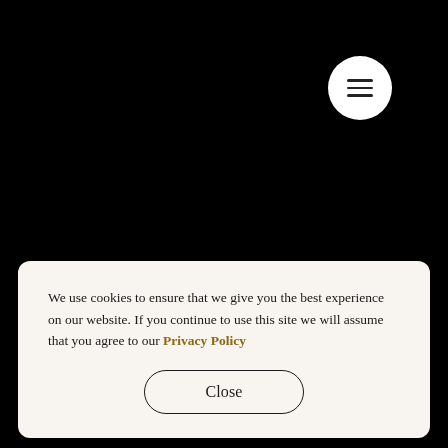[Figure (other): Black background page with a white circular hamburger menu button in the top-right corner, showing three horizontal lines.]
We use cookies to ensure that we give you the best experience on our website. If you continue to use this site we will assume that you agree to our Privacy Policy
Close